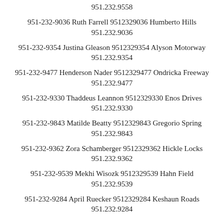951.232.9558
951-232-9036 Ruth Farrell 9512329036 Humberto Hills 951.232.9036
951-232-9354 Justina Gleason 9512329354 Alyson Motorway 951.232.9354
951-232-9477 Henderson Nader 9512329477 Ondricka Freeway 951.232.9477
951-232-9330 Thaddeus Leannon 9512329330 Enos Drives 951.232.9330
951-232-9843 Matilde Beatty 9512329843 Gregorio Spring 951.232.9843
951-232-9362 Zora Schamberger 9512329362 Hickle Locks 951.232.9362
951-232-9539 Mekhi Wisozk 9512329539 Hahn Field 951.232.9539
951-232-9284 April Ruecker 9512329284 Keshaun Roads 951.232.9284